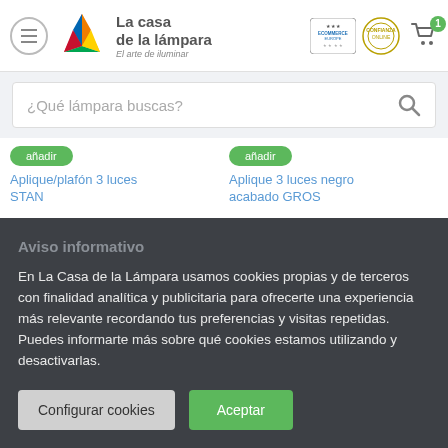[Figure (logo): La casa de la lámpara logo with colorful triangle, ecommerce europe badge, confianza online badge, and shopping cart icon]
¿Qué lámpara buscas?
Aplique/plafón 3 luces STAN
Aplique 3 luces negro acabado GROS
Aviso informativo
En La Casa de la Lámpara usamos cookies propias y de terceros con finalidad analítica y publicitaria para ofrecerte una experiencia más relevante recordando tus preferencias y visitas repetidas. Puedes informarte más sobre qué cookies estamos utilizando y desactivarlas.
Configurar cookies
Aceptar